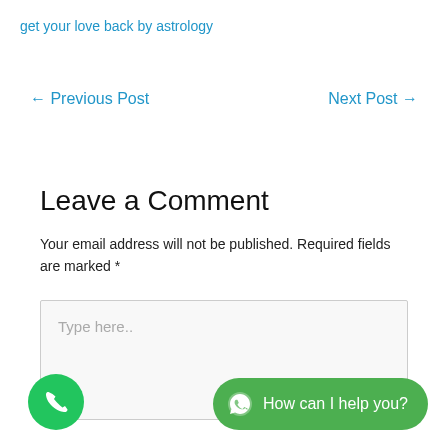get your love back by astrology
← Previous Post
Next Post →
Leave a Comment
Your email address will not be published. Required fields are marked *
[Figure (screenshot): Comment text input field with placeholder 'Type here..']
[Figure (infographic): Green circular phone call button at bottom left]
[Figure (infographic): Green WhatsApp button with text 'How can I help you?' at bottom right]